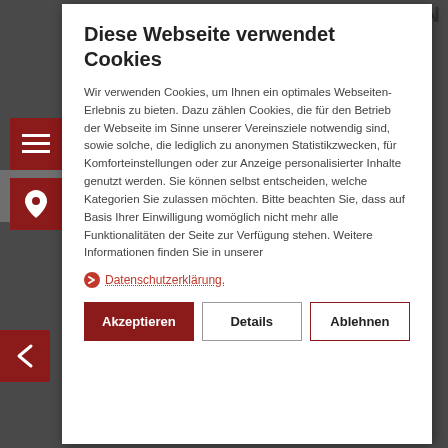Diese Webseite verwendet Cookies
Wir verwenden Cookies, um Ihnen ein optimales Webseiten-Erlebnis zu bieten. Dazu zählen Cookies, die für den Betrieb der Webseite im Sinne unserer Vereinsziele notwendig sind, sowie solche, die lediglich zu anonymen Statistikzwecken, für Komforteinstellungen oder zur Anzeige personalisierter Inhalte genutzt werden. Sie können selbst entscheiden, welche Kategorien Sie zulassen möchten. Bitte beachten Sie, dass auf Basis Ihrer Einwilligung womöglich nicht mehr alle Funktionalitäten der Seite zur Verfügung stehen. Weitere Informationen finden Sie in unserer
Datenschutzerklärung.
Akzeptieren
Details
Ablehnen